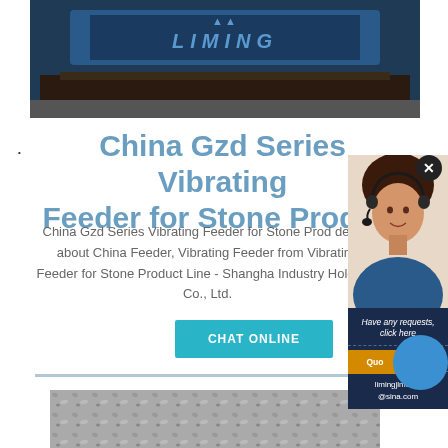[Figure (photo): Blue industrial Liming brand vibrating feeder machine, top view showing rollers and frame]
China Gzd Series Vibrating Feeder for Stone Product
China Gzd Series Vibrating Feeder for Stone Product, Find details about China Feeder, Vibrating Feeder from Vibrating Feeder for Stone Product Line - Shanghai Industry Holdings Co., Ltd.
CHAT ONLINE
[Figure (photo): Chat support agent photo - woman with headset smiling]
Have any requests, click here
Enquiry
limingjlmofen@sina.com
[Figure (photo): Bottom product image showing stone/aggregate material]